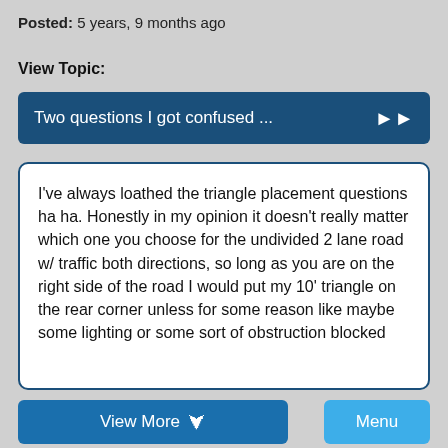Posted:  5 years, 9 months ago
View Topic:
Two questions I got confused ...
I've always loathed the triangle placement questions ha ha. Honestly in my opinion it doesn't really matter which one you choose for the undivided 2 lane road w/ traffic both directions, so long as you are on the right side of the road I would put my 10' triangle on the rear corner unless for some reason like maybe some lighting or some sort of obstruction blocked
View More
Menu